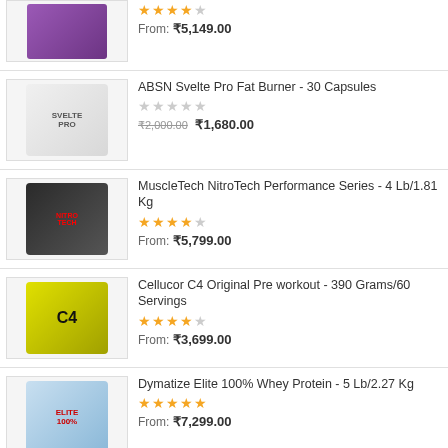[Figure (photo): Product image - supplement container (partial, top cut off)]
From: ₹5,149.00
[Figure (photo): ABSN Svelte Pro Fat Burner product bottle image]
ABSN Svelte Pro Fat Burner - 30 Capsules
₹2,000.00 ₹1,680.00
[Figure (photo): MuscleTech NitroTech Performance Series product container image]
MuscleTech NitroTech Performance Series - 4 Lb/1.81 Kg
From: ₹5,799.00
[Figure (photo): Cellucor C4 Original Pre workout product container image]
Cellucor C4 Original Pre workout - 390 Grams/60 Servings
From: ₹3,699.00
[Figure (photo): Dymatize Elite 100% Whey Protein product container image]
Dymatize Elite 100% Whey Protein - 5 Lb/2.27 Kg
From: ₹7,299.00
[Figure (photo): BSN Syntha 6 Protein Matrix product container image (partial, bottom cut off)]
BSN Syntha 6 Protein Matrix- 5 Lb/2.27 Kg